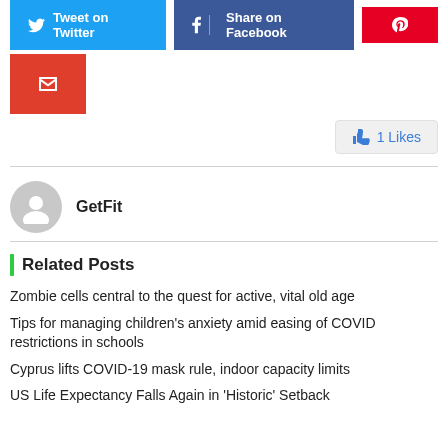[Figure (infographic): Social media share buttons: Tweet on Twitter (blue), Share on Facebook (dark blue), Pinterest (red), Email (red)]
1 Likes
GetFit
Related Posts
Zombie cells central to the quest for active, vital old age
Tips for managing children's anxiety amid easing of COVID restrictions in schools
Cyprus lifts COVID-19 mask rule, indoor capacity limits
US Life Expectancy Falls Again in 'Historic' Setback